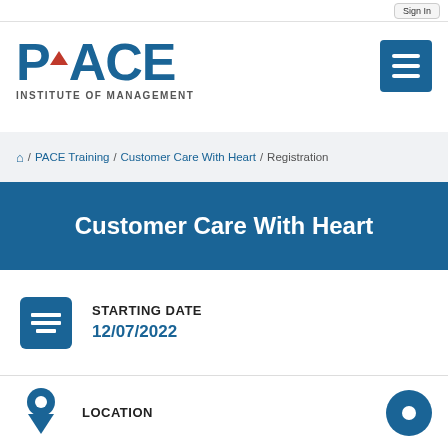Sign In
[Figure (logo): PACE Institute of Management logo with large blue PACE text and red triangle accent, plus hamburger menu icon]
🏠 / PACE Training / Customer Care With Heart / Registration
Customer Care With Heart
STARTING DATE
12/07/2022
LOCATION